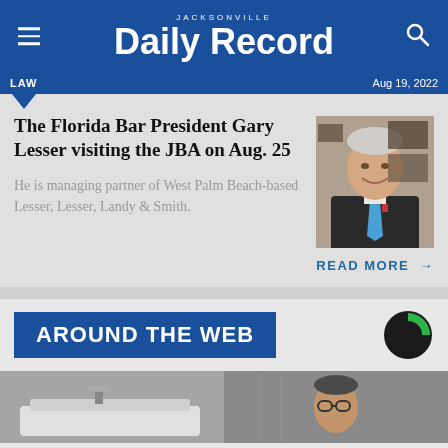JACKSONVILLE Daily Record
LAW — Aug 19, 2022
The Florida Bar President Gary Lesser visiting the JBA on Aug. 25
[Figure (photo): Portrait photo of Gary Lesser, smiling man in dark suit with blue tie]
He is managing partner of West Palm Beach-based Lesser, Lesser, Landy & Smith.
READ MORE →
AROUND THE WEB
[Figure (logo): Taboola logo - circular black and green icon]
[Figure (photo): Bottom strip showing two photos - left appears to be a bathroom/plumbing scene, right is a man with glasses]